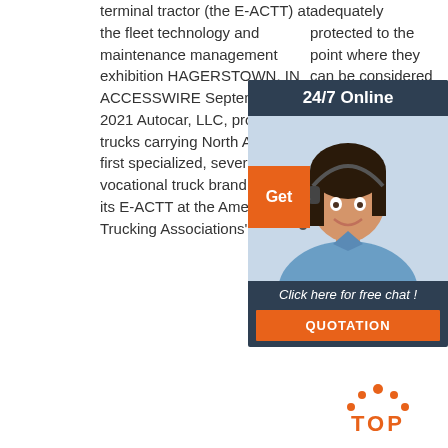terminal tractor (the E-ACTT) at the fleet technology and maintenance management exhibition HAGERSTOWN, IN ACCESSWIRE September 9, 2021 Autocar, LLC, proud to build trucks carrying North America's first specialized, severe-duty vocational truck brand, will display its E-ACTT at the American Trucking Associations'
adequately protected to the point where they can be considered failsafe and foolproof asked
[Figure (other): 24/7 Online chat widget with a customer service representative (woman with headset), Get button, 'Click here for free chat!' text, and QUOTATION button]
[Figure (other): TOP button with orange dotted arc icon above the word TOP in orange bold text]